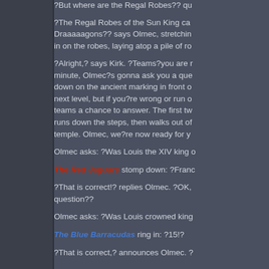?But where are the Regal Robes?? qu
?The Regal Robes of the Sun King ca... Draaaaagons?? says Olmec, stretchin... in on the robes, laying atop a pile of ro
?Alright,? says Kirk. ?Teams?you are r... minute, Olmec?s gonna ask you a que... down on the ancient marking in front o... next level, but if you?re wrong or run o... teams a chance to answer. The first tw... runs down the steps, then walks out of... temple. Olmec, we?re now ready for y
Olmec asks: ?Was Louis the XIV king o
The Red Jaguars stomp down: ?Franc
?That is correct!? replies Olmec. ?OK,... question??
Olmec asks: ?Was Louis crowned king
The Blue Barracudas ring in: ?15!?
?That is correct,? announces Olmec. ?